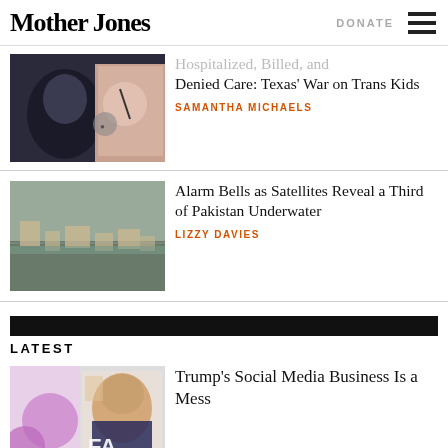Mother Jones | DONATE
Hospitalized, Billed, and Denied Care: Texas' War on Trans Kids
SAMANTHA MICHAELS
Alarm Bells as Satellites Reveal a Third of Pakistan Underwater
LIZZY DAVIES
LATEST
Trump's Social Media Business Is a Mess